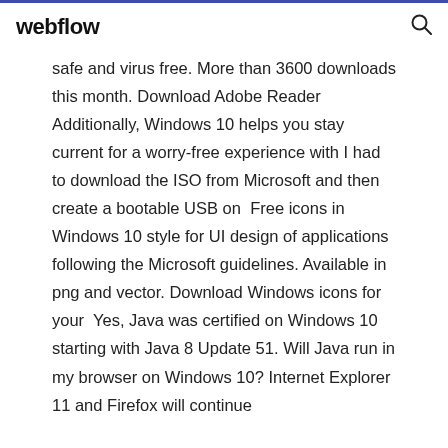webflow
safe and virus free. More than 3600 downloads this month. Download Adobe Reader Additionally, Windows 10 helps you stay current for a worry-free experience with I had to download the ISO from Microsoft and then create a bootable USB on  Free icons in Windows 10 style for UI design of applications following the Microsoft guidelines. Available in png and vector. Download Windows icons for your  Yes, Java was certified on Windows 10 starting with Java 8 Update 51. Will Java run in my browser on Windows 10? Internet Explorer 11 and Firefox will continue